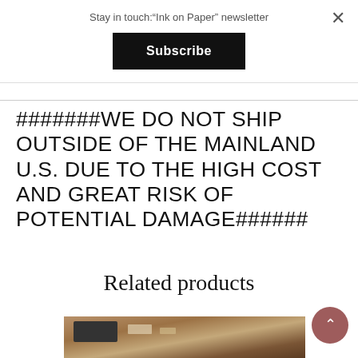Stay in touch:"Ink on Paper" newsletter
Subscribe
#######WE DO NOT SHIP OUTSIDE OF THE MAINLAND U.S. DUE TO THE HIGH COST AND GREAT RISK OF POTENTIAL DAMAGE######
Related products
[Figure (photo): Partial view of a desk with a typewriter and items, blurred/cropped at the bottom of the page]